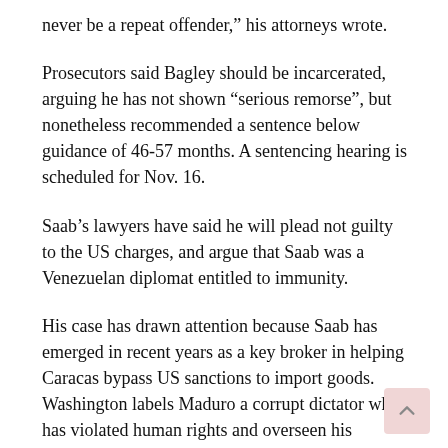never be a repeat offender,” his attorneys wrote.
Prosecutors said Bagley should be incarcerated, arguing he has not shown “serious remorse”, but nonetheless recommended a sentence below guidance of 46-57 months. A sentencing hearing is scheduled for Nov. 16.
Saab’s lawyers have said he will plead not guilty to the US charges, and argue that Saab was a Venezuelan diplomat entitled to immunity.
His case has drawn attention because Saab has emerged in recent years as a key broker in helping Caracas bypass US sanctions to import goods. Washington labels Maduro a corrupt dictator who has violated human rights and overseen his nation’s economic collapse.